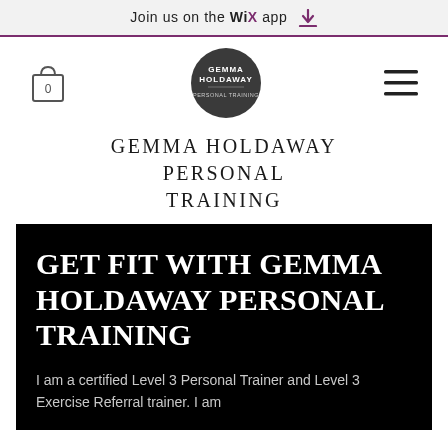Join us on the WiX app
[Figure (logo): Navigation bar with shopping bag icon (0), Gemma Holdaway Personal Training circular logo, and hamburger menu]
GEMMA HOLDAWAY PERSONAL TRAINING
GET FIT WITH GEMMA HOLDAWAY PERSONAL TRAINING
I am a certified Level 3 Personal Trainer and Level 3 Exercise Referral trainer. I am